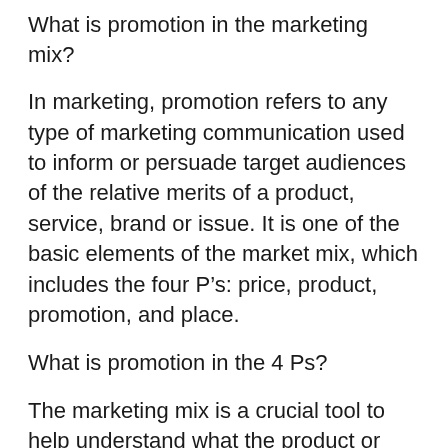What is promotion in the marketing mix?
In marketing, promotion refers to any type of marketing communication used to inform or persuade target audiences of the relative merits of a product, service, brand or issue. It is one of the basic elements of the market mix, which includes the four P’s: price, product, promotion, and place.
What is promotion in the 4 Ps?
The marketing mix is a crucial tool to help understand what the product or service can offer and how to plan for a successful product offering. The marketing mix is most commonly executed through the 4 P’s of marketing: Price, Product, Promotion, and